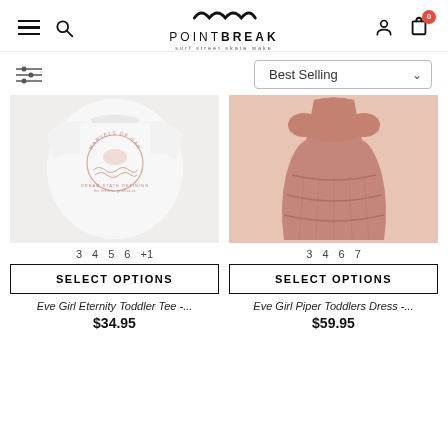[Figure (screenshot): PointBreak surf street skate wake logo with wave SVG icon at top center]
Best Selling dropdown filter
[Figure (photo): Eve Girl Eternity Toddler Tee - white t-shirt with circular graphic print]
3  4  5  6  +1
SELECT OPTIONS
Eve Girl Eternity Toddler Tee -...
$34.95
[Figure (photo): Eve Girl Piper Toddlers Dress - pink/mauve tiered dress]
3  4  6  7
SELECT OPTIONS
Eve Girl Piper Toddlers Dress -...
$59.95